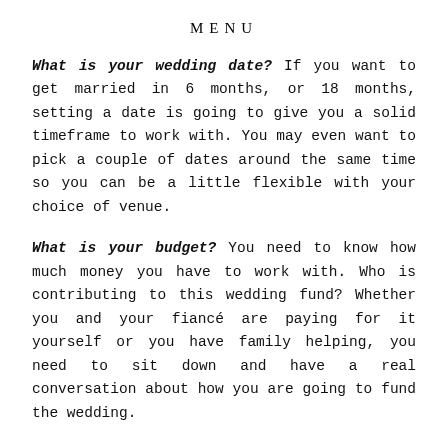MENU
What is your wedding date? If you want to get married in 6 months, or 18 months, setting a date is going to give you a solid timeframe to work with. You may even want to pick a couple of dates around the same time so you can be a little flexible with your choice of venue.
What is your budget? You need to know how much money you have to work with. Who is contributing to this wedding fund? Whether you and your fiancé are paying for it yourself or you have family helping, you need to sit down and have a real conversation about how you are going to fund the wedding.